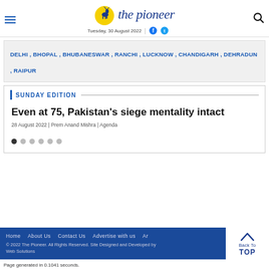the pioneer – Tuesday, 30 August 2022
DELHI , BHOPAL , BHUBANESWAR , RANCHI , LUCKNOW , CHANDIGARH , DEHRADUN , RAIPUR
SUNDAY EDITION
Even at 75, Pakistan's siege mentality intact
28 August 2022 | Prem Anand Mishra | Agenda
Home   About Us   Contact Us   Advertise with us   Ar…
© 2022 The Pioneer. All Rights Reserved. Site Designed and Developed by Web Solutions
Page generated in 0.1041 seconds.